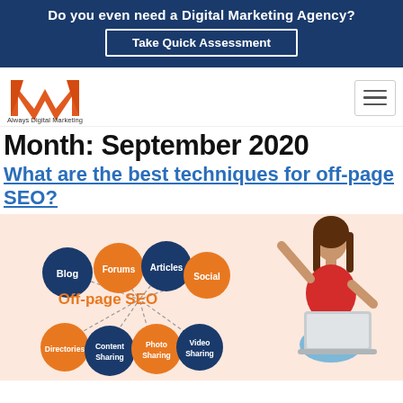Do you even need a Digital Marketing Agency? Take Quick Assessment
[Figure (logo): Always Digital Marketing logo - orange M shape with tagline]
Month: September 2020
What are the best techniques for off-page SEO?
[Figure (infographic): Off-page SEO infographic showing circles labeled Blog, Forums, Articles, Social, Directories, Content Sharing, Photo Sharing, Video Sharing connected to central Off-page SEO text, alongside image of woman with laptop]